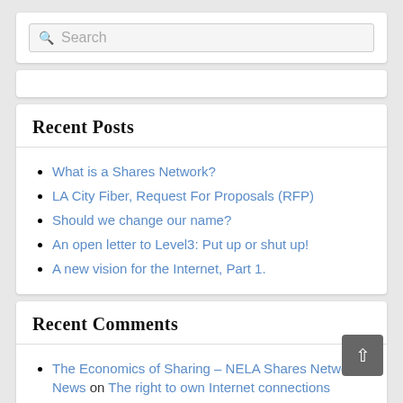Search
Recent Posts
What is a Shares Network?
LA City Fiber, Request For Proposals (RFP)
Should we change our name?
An open letter to Level3: Put up or shut up!
A new vision for the Internet, Part 1.
Recent Comments
The Economics of Sharing – NELA Shares Network News on The right to own Internet connections
NELA-Shares Administrator on What is a Shares Network?